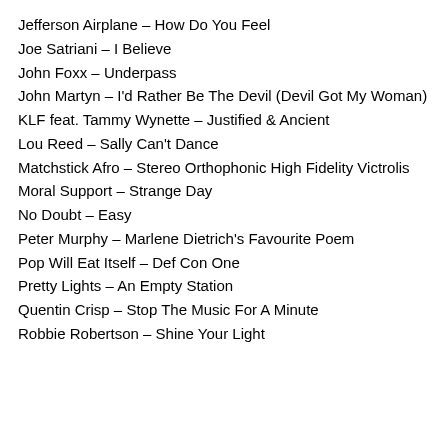Jefferson Airplane – How Do You Feel
Joe Satriani – I Believe
John Foxx – Underpass
John Martyn – I'd Rather Be The Devil (Devil Got My Woman)
KLF feat. Tammy Wynette – Justified & Ancient
Lou Reed – Sally Can't Dance
Matchstick Afro – Stereo Orthophonic High Fidelity Victrolis
Moral Support – Strange Day
No Doubt – Easy
Peter Murphy – Marlene Dietrich's Favourite Poem
Pop Will Eat Itself – Def Con One
Pretty Lights – An Empty Station
Quentin Crisp – Stop The Music For A Minute
Robbie Robertson – Shine Your Light